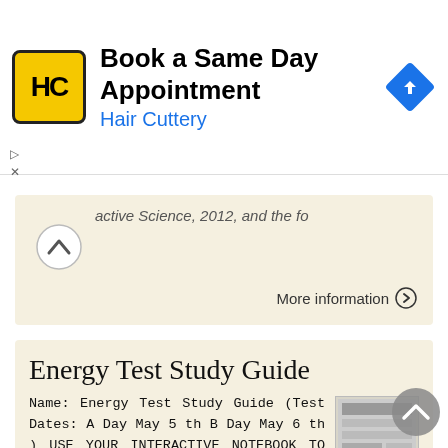[Figure (screenshot): Hair Cuttery advertisement banner: yellow logo with HC letters, text 'Book a Same Day Appointment' in bold and 'Hair Cuttery' in blue, with a blue navigation arrow icon on the right]
active Science, 2012, and the fo...
Energy Test Study Guide
Name: Energy Test Study Guide (Test Dates: A Day May 5 th B Day May 6 th ) USE YOUR INTERACTIVE NOTEBOOK TO STUDY CLASSROOM ASSIGNMENTS, LABS, FORMATIVE ASSESSMENTS, AND HOMEWORK. ENERGY AND THE TWO MAIN
Bay Area Scientists in Schools Presentation Plan